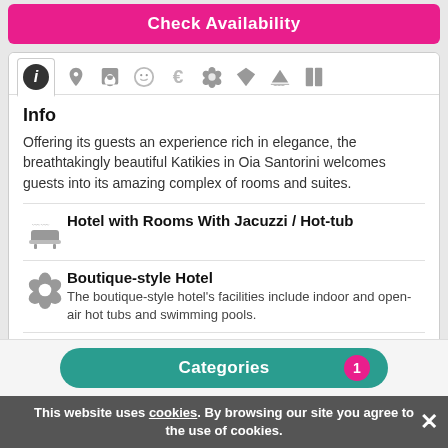Check Availability
[Figure (screenshot): Tab bar with icons: info (active), location, camera, smiley, euro, flower, diamond, boat, book]
Info
Offering its guests an experience rich in elegance, the breathtakingly beautiful Katikies in Oia Santorini welcomes guests into its amazing complex of rooms and suites.
Hotel with Rooms With Jacuzzi / Hot-tub
Boutique-style Hotel
The boutique-style hotel's facilities include indoor and open-air hot tubs and swimming pools.
Luxury Hotel
Perfectly set in a unique natural environment, this idyllic retreat expresses the ultimate in luxury, privacy and exclusivity.
Categories 1
This website uses cookies. By browsing our site you agree to the use of cookies.